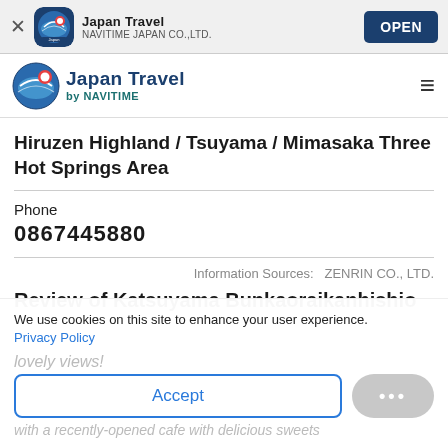[Figure (screenshot): App install banner showing Japan Travel app icon, name, NAVITIME JAPAN CO.,LTD. subtitle, and OPEN button]
Japan Travel by NAVITIME — navigation bar with logo and hamburger menu
Hiruzen Highland / Tsuyama / Mimasaka Three Hot Springs Area
Phone
0867445880
Information Sources:   ZENRIN CO., LTD.
Review of Katsuyama Bunkaoraikanhishio
We use cookies on this site to enhance your user experience.
Privacy Policy
lovely views!
with a recently-opened cafe with delicious sweets